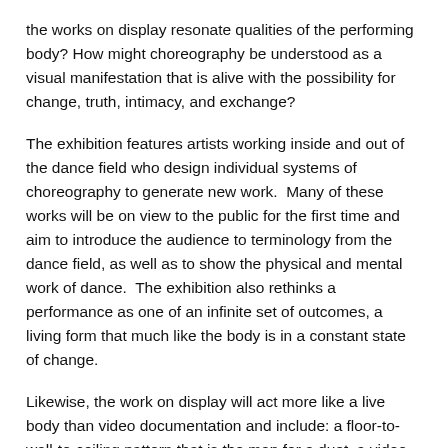the works on display resonate qualities of the performing body? How might choreography be understood as a visual manifestation that is alive with the possibility for change, truth, intimacy, and exchange?
The exhibition features artists working inside and out of the dance field who design individual systems of choreography to generate new work.  Many of these works will be on view to the public for the first time and aim to introduce the audience to terminology from the dance field, as well as to show the physical and mental work of dance.  The exhibition also rethinks a performance as one of an infinite set of outcomes, a living form that much like the body is in a constant state of change.
Likewise, the work on display will act more like a live body than video documentation and include: a floor-to-wall-to-ceiling pattern that is the map for a duet, a video that simultaneously presents four versions of the same dance performed in different